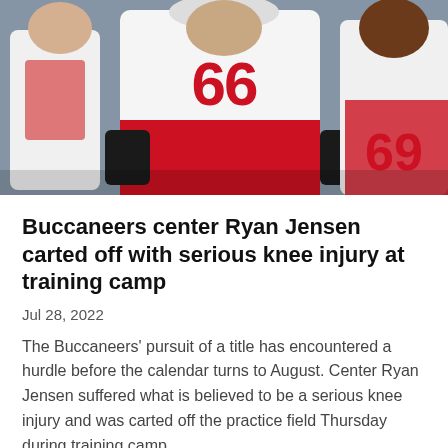[Figure (photo): Three NFL players wearing white jerseys with red numbers; the center player wears jersey #66, player on right wears #69; they appear to be at a training camp practice]
Buccaneers center Ryan Jensen carted off with serious knee injury at training camp
Jul 28, 2022
The Buccaneers' pursuit of a title has encountered a hurdle before the calendar turns to August. Center Ryan Jensen suffered what is believed to be a serious knee injury and was carted off the practice field Thursday during training camp.
[Figure (photo): NFL player wearing a purple Minnesota Vikings helmet, photographed at night during a game]